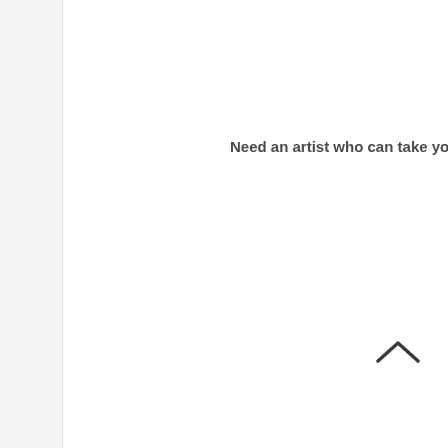Need an artist who can take your vision
[Figure (other): Upward-pointing chevron/caret icon for scroll-to-top navigation]